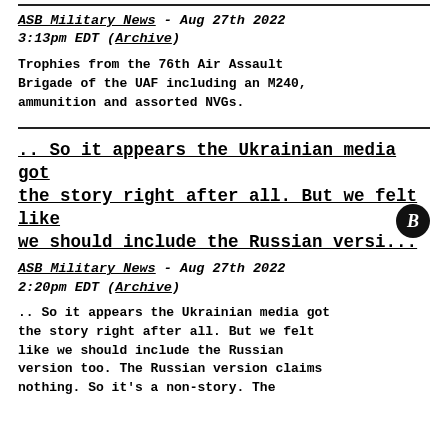ASB Military News - Aug 27th 2022 3:13pm EDT (Archive)
Trophies from the 76th Air Assault Brigade of the UAF including an M240, ammunition and assorted NVGs.
.. So it appears the Ukrainian media got the story right after all. But we felt like we should include the Russian versi...
ASB Military News - Aug 27th 2022 2:20pm EDT (Archive)
.. So it appears the Ukrainian media got the story right after all. But we felt like we should include the Russian version too. The Russian version claims nothing. So it's a non-story. The